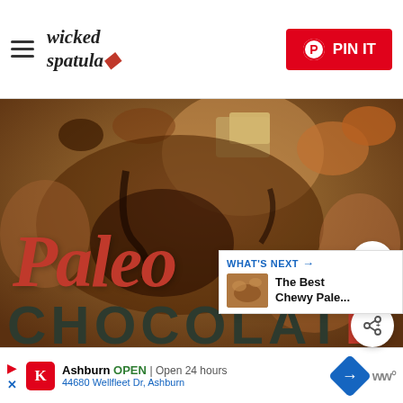wicked spatula — PIN IT
[Figure (photo): Close-up overhead photo of paleo chocolate chip cookies with melted chocolate chunks, with overlaid text 'Paleo CHOCOLATE' in red cursive and dark block letters]
2.3K
WHAT'S NEXT → The Best Chewy Pale...
Ashburn OPEN | Open 24 hours
44680 Wellfleet Dr, Ashburn